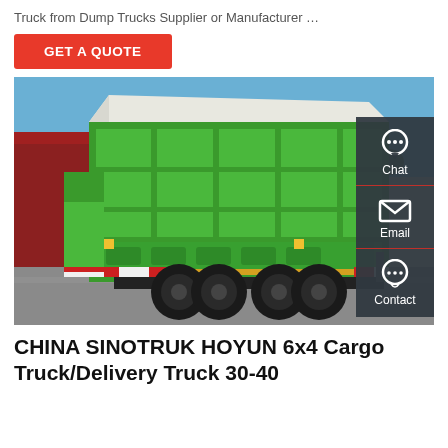Truck from Dump Trucks Supplier or Manufacturer …
GET A QUOTE
[Figure (photo): Rear view of a green SINOTRUK HOYUN 6x4 dump/cargo truck parked on a paved surface, with a white tarp cover over the cargo bed, outdoor setting with trees and buildings in background. A dark sidebar panel with Chat, Email, and Contact icons is overlaid on the right side of the image.]
CHINA SINOTRUK HOYUN 6x4 Cargo Truck/Delivery Truck 30-40